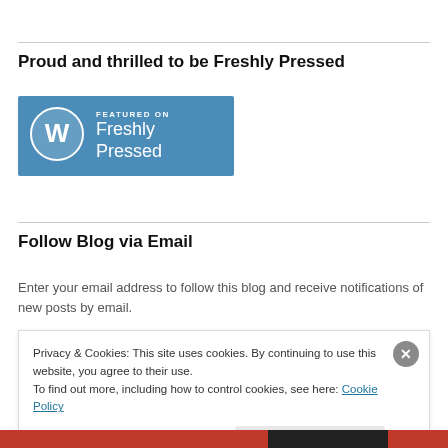Proud and thrilled to be Freshly Pressed
[Figure (logo): WordPress 'Featured on Freshly Pressed' badge — blue rectangle with WordPress logo circle and white text 'FEATURED ON Freshly Pressed']
Follow Blog via Email
Enter your email address to follow this blog and receive notifications of new posts by email.
Privacy & Cookies: This site uses cookies. By continuing to use this website, you agree to their use. To find out more, including how to control cookies, see here: Cookie Policy